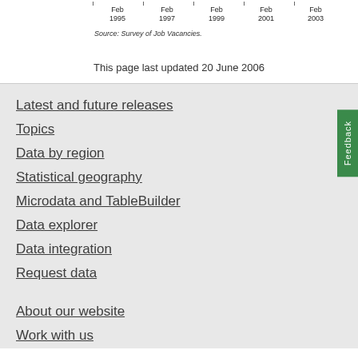Source: Survey of Job Vacancies.
This page last updated 20 June 2006
Latest and future releases
Topics
Data by region
Statistical geography
Microdata and TableBuilder
Data explorer
Data integration
Request data
About our website
Work with us